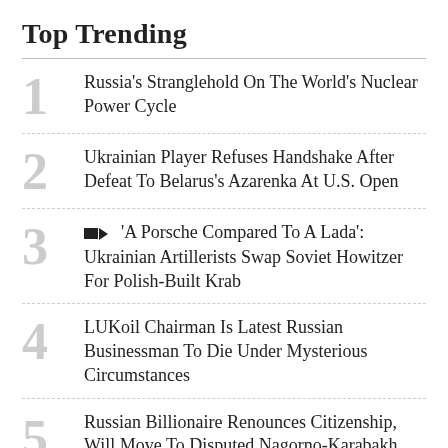Top Trending
1 Russia's Stranglehold On The World's Nuclear Power Cycle
2 Ukrainian Player Refuses Handshake After Defeat To Belarus's Azarenka At U.S. Open
3 [video] 'A Porsche Compared To A Lada': Ukrainian Artillerists Swap Soviet Howitzer For Polish-Built Krab
4 LUKoil Chairman Is Latest Russian Businessman To Die Under Mysterious Circumstances
5 Russian Billionaire Renounces Citizenship, Will Move To Disputed Nagorno-Karabakh